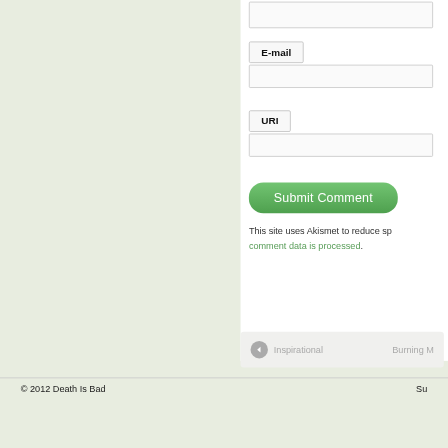[Figure (screenshot): Left green panel background]
E-mail
URI
Submit Comment
This site uses Akismet to reduce sp... comment data is processed.
Inspirational
Burning M
© 2012 Death Is Bad    Su